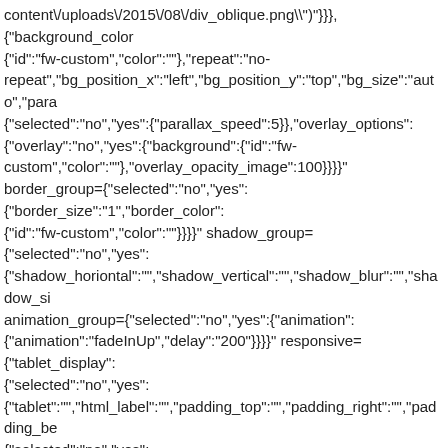content\/uploads\/2015\/08\/div_oblique.png\")"}},{"background_color":{"id":"fw-custom","color":""},"repeat":"no-repeat","bg_position_x":"left","bg_position_y":"top","bg_size":"auto","para{"selected":"no","yes":{"parallax_speed":5}},"overlay_options":{"overlay":"no","yes":{"background":{"id":"fw-custom","color":""},"overlay_opacity_image":100}}}" border_group={"selected":"no","yes":{"border_size":"1","border_color":{"id":"fw-custom","color":""}}}" shadow_group={"selected":"no","yes":{"shadow_horiontal":"","shadow_vertical":"","shadow_blur":"","shadow_si animation_group={"selected":"no","yes":{"animation":{"animation":"fadeInUp","delay":"200"}}}" responsive={"tablet_display":{"selected":"no","yes":{"tablet":"","html_label":"","padding_top":"","padding_right":"","padding_be{"selected":"no","yes":{"html_label":"","padding_top":"","padding_right":"","padding_bottom":""," class="about01" _array_keys={"column_height":"column_height","background_options":" _made_with_builder="true"][space height="3" responsive={"tablet_display":{"selected":"yes"},"smartphone_display":{"selected":"yes"}}" _array_keys={"responsive":"responsive"} _made_with_builder="true"][/space][text_block unique_id="f2cfe80cda6ebff146d1f86bc3a94bc6"